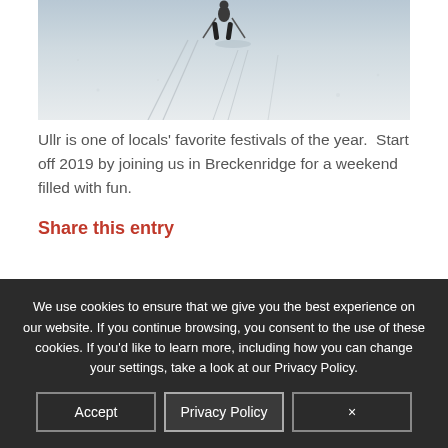[Figure (photo): A skier on a snow-covered slope viewed from above, with ski tracks in the snow.]
Ullr is one of locals' favorite festivals of the year.  Start off 2019 by joining us in Breckenridge for a weekend filled with fun.
Share this entry
We use cookies to ensure that we give you the best experience on our website. If you continue browsing, you consent to the use of these cookies. If you'd like to learn more, including how you can change your settings, take a look at our Privacy Policy.